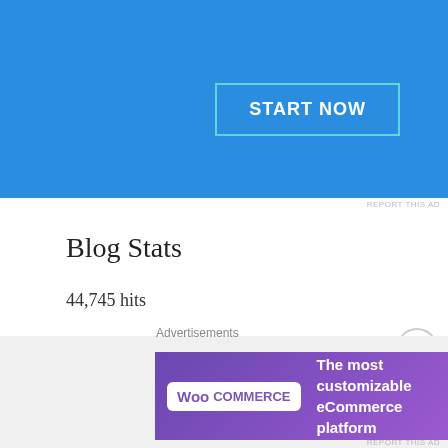[Figure (other): Blue advertisement banner with a 'START NOW' button outlined in teal/cyan on blue background]
REPORT THIS AD
Blog Stats
44,745 hits
Search here
Search ...
Advertisements
[Figure (other): WooCommerce advertisement banner: WooCommerce logo on purple background with text 'The most customizable eCommerce platform']
REPORT THIS AD